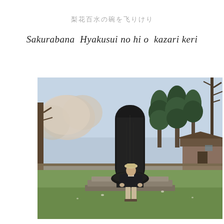桜花百水の碑を飾りけり
Sakurabana  Hyakusui no hi o  kazari keri
[Figure (photo): A person wearing a hat and dark jacket standing in front of a tall dark stone monument/stele on a stone platform. The setting is an outdoor garden or park with cherry blossom trees, pine trees, and a traditional Japanese building visible in the background.]